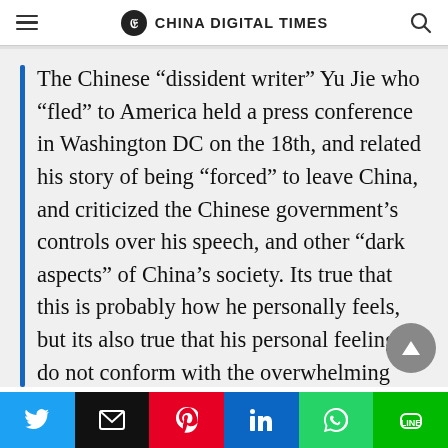CHINA DIGITAL TIMES
The Chinese “dissident writer” Yu Jie who “fled” to America held a press conference in Washington DC on the 18th, and related his story of being “forced” to leave China, and criticized the Chinese government’s controls over his speech, and other “dark aspects” of China’s society. Its true that this is probably how he personally feels, but its also true that his personal feelings do not conform with the overwhelming majority of people in China. As far as the issue of speech is concerned, in rece... years there are two groups that felt the effects most
Twitter | Email | Pinterest | LinkedIn | WhatsApp | LINE